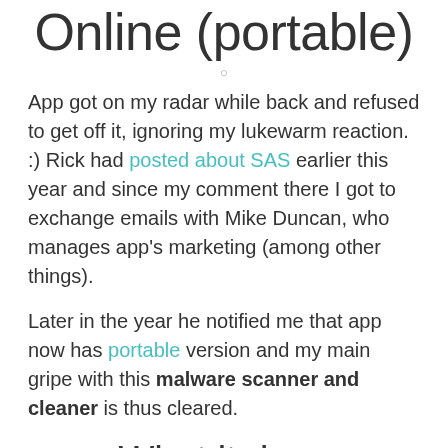Online (portable)
App got on my radar while back and refused to get off it, ignoring my lukewarm reaction. :) Rick had posted about SAS earlier this year and since my comment there I got to exchange emails with Mike Duncan, who manages app’s marketing (among other things).
Later in the year he notified me that app now has portable version and my main gripe with this malware scanner and cleaner is thus cleared.
What it does